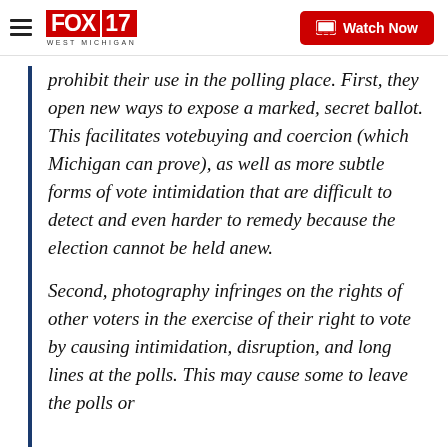[Figure (logo): FOX 17 West Michigan logo with hamburger menu and Watch Now button]
prohibit their use in the polling place. First, they open new ways to expose a marked, secret ballot. This facilitates votebuying and coercion (which Michigan can prove), as well as more subtle forms of vote intimidation that are difficult to detect and even harder to remedy because the election cannot be held anew.
Second, photography infringes on the rights of other voters in the exercise of their right to vote by causing intimidation, disruption, and long lines at the polls. This may cause some to leave the polls or